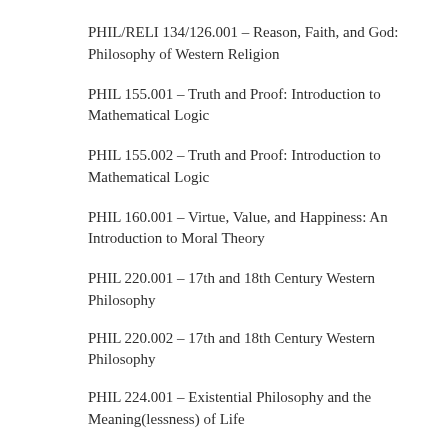PHIL/RELI 134/126.001 – Reason, Faith, and God: Philosophy of Western Religion
PHIL 155.001 – Truth and Proof: Introduction to Mathematical Logic
PHIL 155.002 – Truth and Proof: Introduction to Mathematical Logic
PHIL 160.001 – Virtue, Value, and Happiness: An Introduction to Moral Theory
PHIL 220.001 – 17th and 18th Century Western Philosophy
PHIL 220.002 – 17th and 18th Century Western Philosophy
PHIL 224.001 – Existential Philosophy and the Meaning(lessness) of Life
PHIL 230.001 – Mind, Matter, and Metaphysics: the Philosophy of Perception and Reality